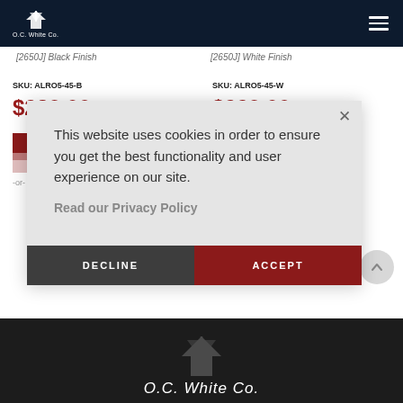[Figure (logo): O.C. White Co. logo with bird/lightning bolt icon on dark navy header bar]
[2650J] Black Finish
[2650J] White Finish
SKU: ALRO5-45-B
$239.00 MSRP
SKU: ALRO5-45-W
$229.00 MSRP
ADD TO CART
-or- Request a Demo
ADD TO CART
-or- Request a Demo
This website uses cookies in order to ensure you get the best functionality and user experience on our site.
Read our Privacy Policy
DECLINE
ACCEPT
O.C. White Co.